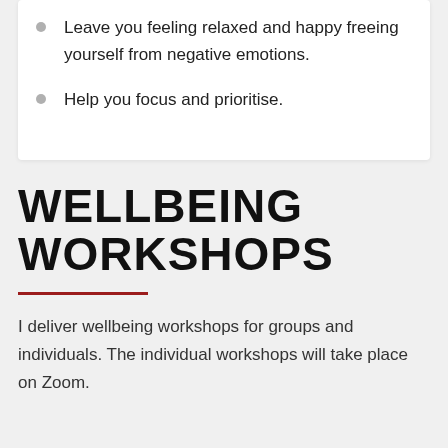Leave you feeling relaxed and happy freeing yourself from negative emotions.
Help you focus and prioritise.
WELLBEING WORKSHOPS
I deliver wellbeing workshops for groups and individuals. The individual workshops will take place on Zoom.